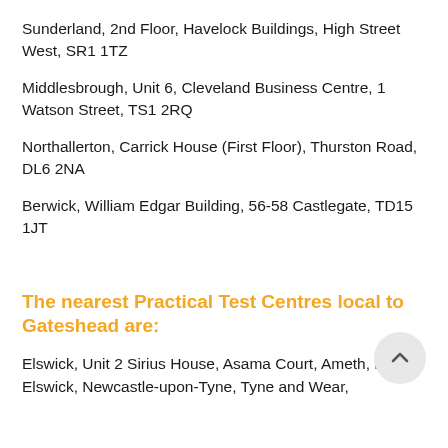Sunderland, 2nd Floor, Havelock Buildings, High Street West, SR1 1TZ
Middlesbrough, Unit 6, Cleveland Business Centre, 1 Watson Street, TS1 2RQ
Northallerton, Carrick House (First Floor), Thurston Road, DL6 2NA
Berwick, William Edgar Building, 56-58 Castlegate, TD15 1JT
The nearest Practical Test Centres local to Gateshead are:
Elswick, Unit 2 Sirius House, Asama Court, Ameth, Road , Elswick, Newcastle-upon-Tyne, Tyne and Wear,